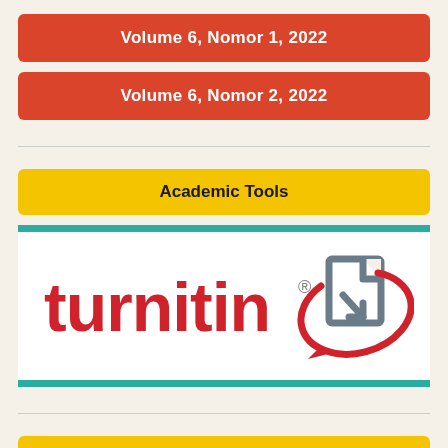Volume 6, Nomor 1, 2022
Volume 6, Nomor 2, 2022
Academic Tools
[Figure (logo): Turnitin logo with red wordmark and grey document icon with red arrow]
Visitor Statistic